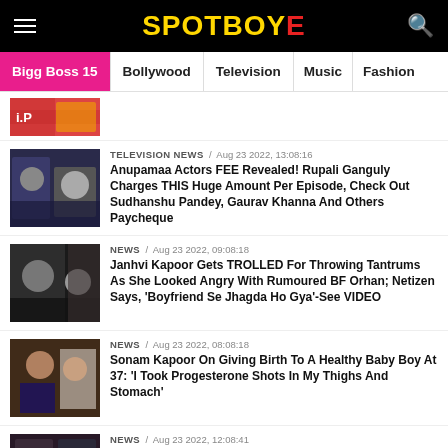SpotboyE - Bigg Boss 15 | Bollywood | Television | Music | Fashion
[Figure (screenshot): Partial news thumbnail at top, showing a cropped image]
TELEVISION NEWS / Aug 23 2022, 13:08:16 — Anupamaa Actors FEE Revealed! Rupali Ganguly Charges THIS Huge Amount Per Episode, Check Out Sudhanshu Pandey, Gaurav Khanna And Others Paycheque
NEWS / Aug 23 2022, 09:08:18 — Janhvi Kapoor Gets TROLLED For Throwing Tantrums As She Looked Angry With Rumoured BF Orhan; Netizen Says, 'Boyfriend Se Jhagda Ho Gya'-See VIDEO
NEWS / Aug 23 2022, 08:08:18 — Sonam Kapoor On Giving Birth To A Healthy Baby Boy At 37: 'I Took Progesterone Shots In My Thighs And Stomach'
NEWS / Aug 23 2022, 12:08:41 — KK Birth Anniversary: The Late Singer Once Revealed His Wife Told Him Not To Sing At Home;